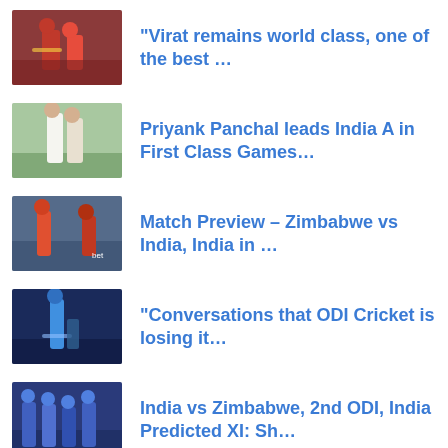“Virat remains world class, one of the best …
Priyank Panchal leads India A in First Class Games…
Match Preview – Zimbabwe vs India, India in …
“Conversations that ODI Cricket is losing it…
India vs Zimbabwe, 2nd ODI, India Predicted XI: Sh…